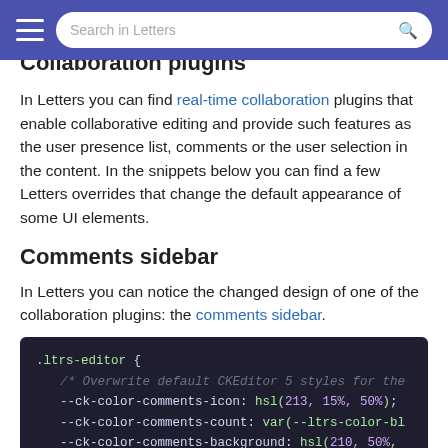Search in Letters
Collaboration plugins
In Letters you can find real-time collaboration plugins that enable collaborative editing and provide such features as the user presence list, comments or the user selection in the content. In the snippets below you can find a few Letters overrides that change the default appearance of some UI elements.
Comments sidebar
In Letters you can notice the changed design of one of the collaboration plugins: the comments sidebar.
[Figure (screenshot): Code block showing CSS for .ltrs-editor with CKEditor 5 custom properties: --ck-color-comments-icon: hsl(213, 15%, 50%); --ck-color-comments-count: var(--ltrs-color-bl...; --ck-color-comments-background: hsl(210, 50%,...]